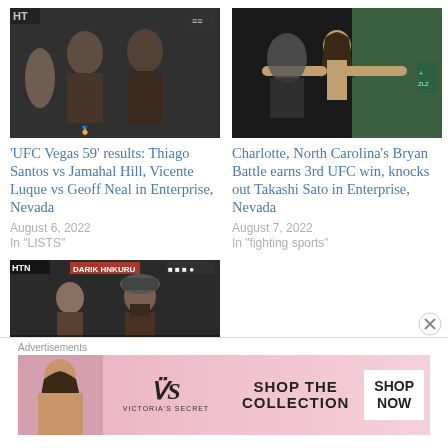[Figure (photo): Two MMA fighters facing off at weigh-in, UFC Vegas 59]
[Figure (photo): Male MMA fighter Bryan Battle with arms spread wide at weigh-in]
'UFC Vegas 59' results: Thiago Santos vs Jamahal Hill, Vicente Luque vs Geoff Neal in Enterprise, Nevada
August 6, 2022
In "LISTS"
Charlotte, North Carolina's Bryan Battle earns 3rd UFC win, knocks out Takashi Sato in Enterprise, Nevada
August 7, 2022
In "fighting sports"
[Figure (photo): Two MMA fighters at weigh-in event]
Advertisements
[Figure (photo): Victoria's Secret advertisement: woman model with VS logo, SHOP THE COLLECTION, SHOP NOW button]